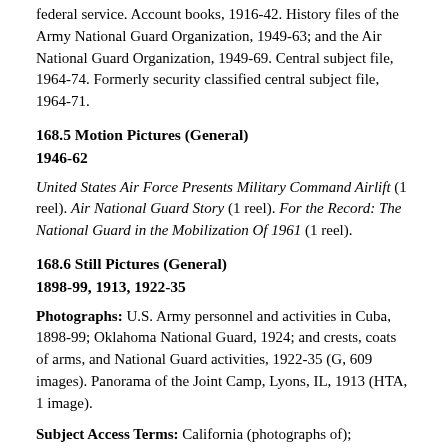federal service. Account books, 1916-42. History files of the Army National Guard Organization, 1949-63; and the Air National Guard Organization, 1949-69. Central subject file, 1964-74. Formerly security classified central subject file, 1964-71.
168.5 Motion Pictures (General)
1946-62
United States Air Force Presents Military Command Airlift (1 reel). Air National Guard Story (1 reel). For the Record: The National Guard in the Mobilization Of 1961 (1 reel).
168.6 Still Pictures (General)
1898-99, 1913, 1922-35
Photographs: U.S. Army personnel and activities in Cuba, 1898-99; Oklahoma National Guard, 1924; and crests, coats of arms, and National Guard activities, 1922-35 (G, 609 images). Panorama of the Joint Camp, Lyons, IL, 1913 (HTA, 1 image).
Subject Access Terms: California (photographs of);